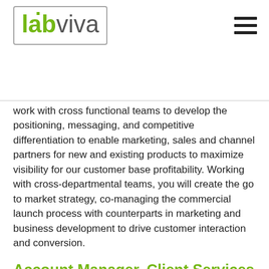labviva
work with cross functional teams to develop the positioning, messaging, and competitive differentiation to enable marketing, sales and channel partners for new and existing products to maximize visibility for our customer base profitability. Working with cross-departmental teams, you will create the go to market strategy, co-managing the commercial launch process with counterparts in marketing and business development to drive customer interaction and conversion.
Account Manager, Client Services
The Account Manager will act as a point of contact for their clients. They will build long-lasting, mutually beneficial relationships with their contacts, always striving to find opportunities to generate more revenue for the